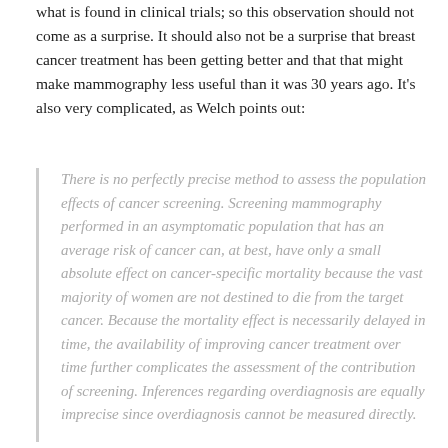what is found in clinical trials; so this observation should not come as a surprise. It should also not be a surprise that breast cancer treatment has been getting better and that that might make mammography less useful than it was 30 years ago. It's also very complicated, as Welch points out:
There is no perfectly precise method to assess the population effects of cancer screening. Screening mammography performed in an asymptomatic population that has an average risk of cancer can, at best, have only a small absolute effect on cancer-specific mortality because the vast majority of women are not destined to die from the target cancer. Because the mortality effect is necessarily delayed in time, the availability of improving cancer treatment over time further complicates the assessment of the contribution of screening. Inferences regarding overdiagnosis are equally imprecise since overdiagnosis cannot be measured directly.